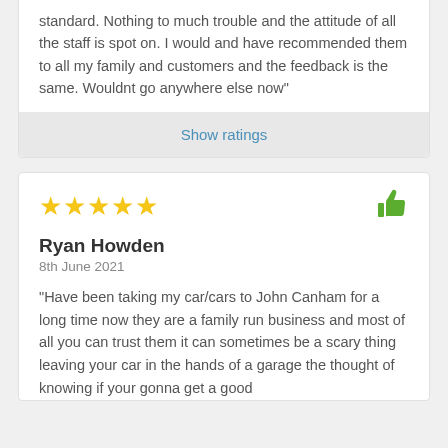standard. Nothing to much trouble and the attitude of all the staff is spot on. I would and have recommended them to all my family and customers and the feedback is the same. Wouldnt go anywhere else now"
Show ratings
★★★★★
Ryan Howden
8th June 2021
"Have been taking my car/cars to John Canham for a long time now they are a family run business and most of all you can trust them it can sometimes be a scary thing leaving your car in the hands of a garage the thought of knowing if your gonna get a good